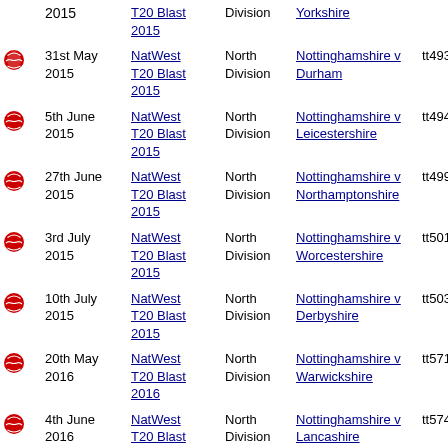|  | Date | Competition | Division | Match | ID |
| --- | --- | --- | --- | --- | --- |
|  | 2015 | NatWest T20 Blast 2015 | Division | Yorkshire |  |
| 🏏 | 31st May 2015 | NatWest T20 Blast 2015 | North Division | Nottinghamshire v Durham | tt4937 |
| 🏏 | 5th June 2015 | NatWest T20 Blast 2015 | North Division | Nottinghamshire v Leicestershire | tt4944 |
| 🏏 | 27th June 2015 | NatWest T20 Blast 2015 | North Division | Nottinghamshire v Northamptonshire | tt4997 |
| 🏏 | 3rd July 2015 | NatWest T20 Blast 2015 | North Division | Nottinghamshire v Worcestershire | tt5012 |
| 🏏 | 10th July 2015 | NatWest T20 Blast 2015 | North Division | Nottinghamshire v Derbyshire | tt5038 |
| 🏏 | 20th May 2016 | NatWest T20 Blast 2016 | North Division | Nottinghamshire v Warwickshire | tt5716 |
| 🏏 | 4th June 2016 | NatWest T20 Blast 2016 | North Division | Nottinghamshire v Lancashire | tt5748 |
| 🏏 | 19th June 2016 | NatWest | North | Nottinghamshire v | tt5753e |